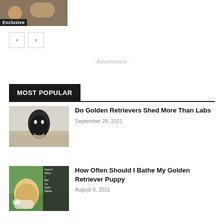[Figure (photo): Golden retriever dog photo with Exclusive badge overlay at bottom left]
[Figure (other): Navigation previous and next arrow buttons]
- Advertisment -
MOST POPULAR
[Figure (photo): Black dog sitting on pile of golden fur/hair on floor]
Do Golden Retrievers Shed More Than Labs
September 29, 2021
[Figure (photo): Golden retriever puppy being bathed outdoors with text overlay about how often to bathe your golden retriever]
How Often Should I Bathe My Golden Retriever Puppy
August 6, 2021